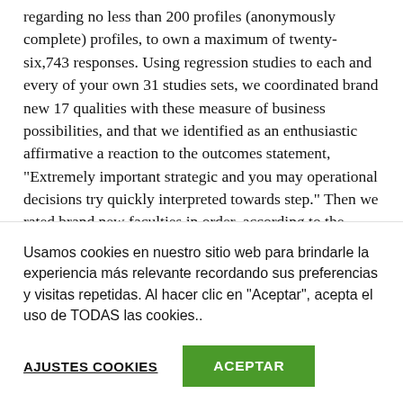regarding no less than 200 profiles (anonymously complete) profiles, to own a maximum of twenty-six,743 responses. Using regression studies to each and every of your own 31 studies sets, we coordinated brand new 17 qualities with these measure of business possibilities, and that we identified as an enthusiastic affirmative a reaction to the outcomes statement, "Extremely important strategic and you may operational decisions try quickly interpreted towards step." Then we rated brand new faculties in order, according to the amount of studies set in that your trait shown a significant correlation with the
Usamos cookies en nuestro sitio web para brindarle la experiencia más relevante recordando sus preferencias y visitas repetidas. Al hacer clic en "Aceptar", acepta el uso de TODAS las cookies..